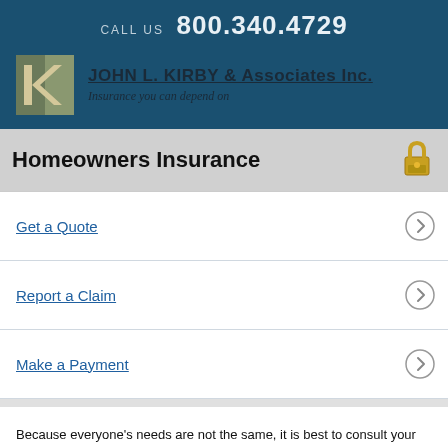CALL US 800.340.4729
[Figure (logo): John L. Kirby & Associates Inc. company logo with K lettermark and tagline 'Insurance you can depend on']
Homeowners Insurance
Get a Quote
Report a Claim
Make a Payment
Because everyone's needs are not the same, it is best to consult your agent to help assess your needs and find the insurance policy that is right for you.
What is Homeowners insurance?
Homeowners insurance provides financial protection against disasters. A standard policy insures the home itself and the things you keep in it.